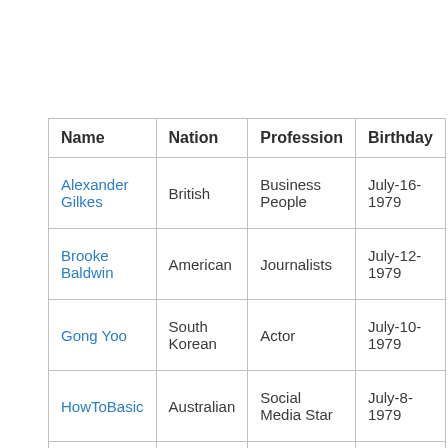| Name | Nation | Profession | Birthday |
| --- | --- | --- | --- |
| Alexander Gilkes | British | Business People | July-16-1979 |
| Brooke Baldwin | American | Journalists | July-12-1979 |
| Gong Yoo | South Korean | Actor | July-10-1979 |
| HowToBasic | Australian | Social Media Star | July-8-1979 |
| Jayma | American | Actress | July-16- |